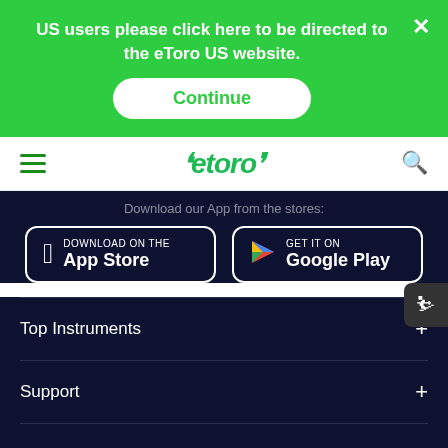US users please click here to be directed to the eToro US website.
Continue
[Figure (logo): eToro logo with green bull horns]
Download our App from the stores:
[Figure (screenshot): Download on the App Store button]
[Figure (screenshot): GET IT ON Google Play button]
Top Instruments
Support
Learn More
About Us